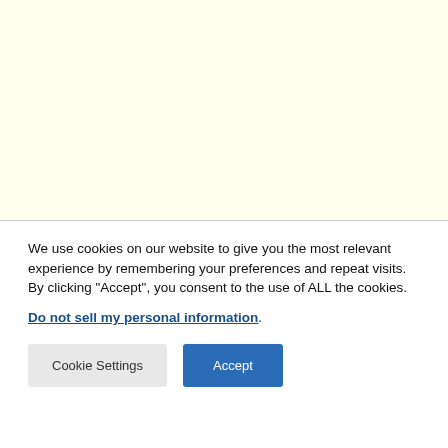[Figure (other): Light yellow background area filling the upper portion of the page]
We use cookies on our website to give you the most relevant experience by remembering your preferences and repeat visits. By clicking “Accept”, you consent to the use of ALL the cookies.
Do not sell my personal information.
Cookie Settings
Accept